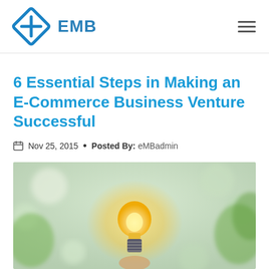EMB
6 Essential Steps in Making an E-Commerce Business Venture Successful
Nov 25, 2015  •  Posted By:  eMBadmin
[Figure (photo): A glowing light bulb held up against a background of blurred green foliage and soft bokeh lighting, representing ideas and innovation.]